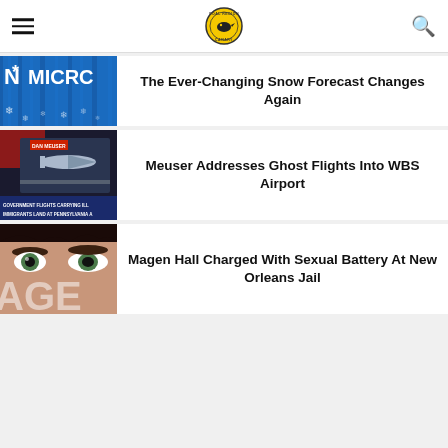Coal Region Canary
[Figure (photo): Snow/winter themed thumbnail with snowflake and text N*MICRO]
The Ever-Changing Snow Forecast Changes Again
[Figure (photo): TV screenshot showing airplane with chyron: GOVERNMENT FLIGHTS CARRYING ILLEGAL IMMIGRANTS LAND AT PENNSYLVANIA A]
Meuser Addresses Ghost Flights Into WBS Airport
[Figure (photo): Close-up of woman's eyes with large letters AGE visible]
Magen Hall Charged With Sexual Battery At New Orleans Jail